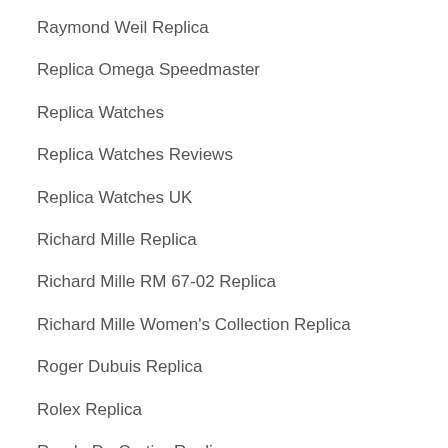Raymond Weil Replica
Replica Omega Speedmaster
Replica Watches
Replica Watches Reviews
Replica Watches UK
Richard Mille Replica
Richard Mille RM 67-02 Replica
Richard Mille Women's Collection Replica
Roger Dubuis Replica
Rolex Replica
Ronde De Cartier Replica
Rotonde De Cartier
Sea-Dweller